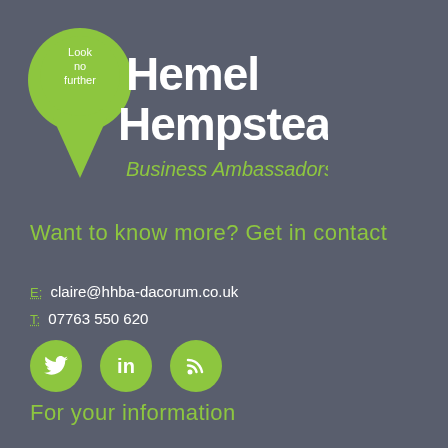[Figure (logo): Hemel Hempstead Business Ambassadors logo with green map pin shape containing 'Look no further' circle, bold white 'Hemel Hempstead' text, and green 'Business Ambassadors' italic text]
Want to know more? Get in contact
E: claire@hhba-dacorum.co.uk
T: 07763 550 620
[Figure (infographic): Three green circular social media icons: Twitter bird, LinkedIn 'in', RSS feed symbol]
For your information